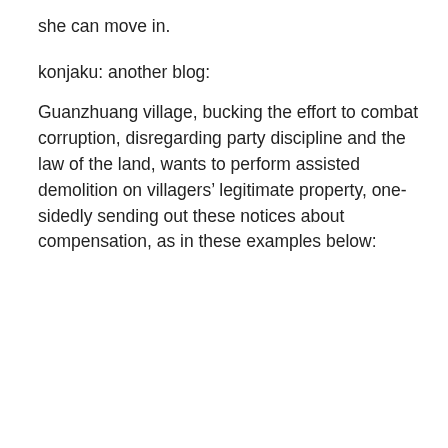she can move in.
konjaku: another blog:
Guanzhuang village, bucking the effort to combat corruption, disregarding party discipline and the law of the land, wants to perform assisted demolition on villagers’ legitimate property, one-sidedly sending out these notices about compensation, as in these examples below:
[Figure (photo): Scanned Chinese government document titled 官庄重点村腾退启动帮拆程序通知书 (Guanzhuang Key Village Vacating and Assisted Demolition Procedure Notice) with redacted household name field and several lines of Chinese text body.]